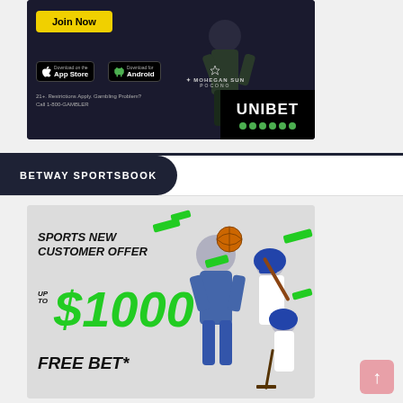[Figure (photo): Unibet sportsbook advertisement with basketball player jumping, Join Now button, App Store and Android download badges, Mohegan Sun Pocono logo, and Unibet branding. Disclaimer: 21+. Restrictions Apply. Gambling Problem? Call 1-800-GAMBLER]
BETWAY SPORTSBOOK
[Figure (photo): Betway Sportsbook advertisement showing sports new customer offer: UP TO $1000 FREE BET* with athletes playing basketball, baseball, and hockey in the background with green decorative elements]